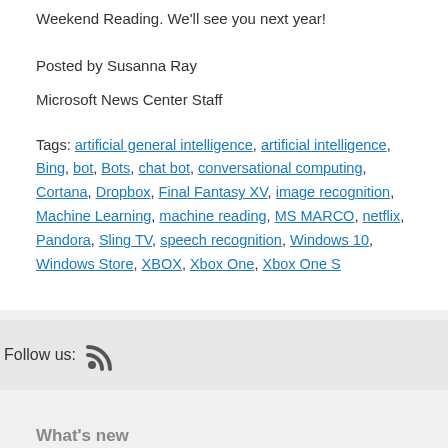Weekend Reading. We'll see you next year!
Posted by Susanna Ray
Microsoft News Center Staff
Tags: artificial general intelligence, artificial intelligence, Bing, bot, Bots, chat bot, conversational computing, Cortana, Dropbox, Final Fantasy XV, image recognition, Machine Learning, machine reading, MS MARCO, netflix, Pandora, Sling TV, speech recognition, Windows 10, Windows Store, XBOX, Xbox One, Xbox One S
Follow us:
What's new